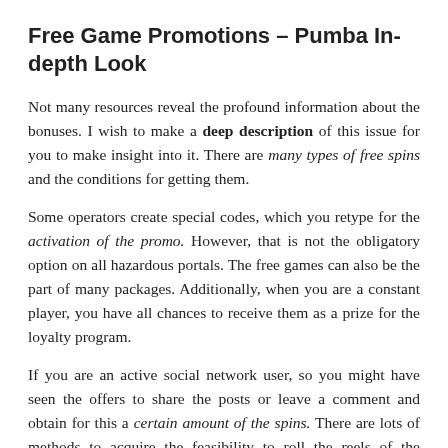Free Game Promotions – Pumba In-depth Look
Not many resources reveal the profound information about the bonuses. I wish to make a deep description of this issue for you to make insight into it. There are many types of free spins and the conditions for getting them.
Some operators create special codes, which you retype for the activation of the promo. However, that is not the obligatory option on all hazardous portals. The free games can also be the part of many packages. Additionally, when you are a constant player, you have all chances to receive them as a prize for the loyalty program.
If you are an active social network user, so you might have seen the offers to share the posts or leave a comment and obtain for this a certain amount of the spins. There are lots of methods to acquire the feasibility to roll the reels of the machine for no cost.
AU$$$ Supplier Classification